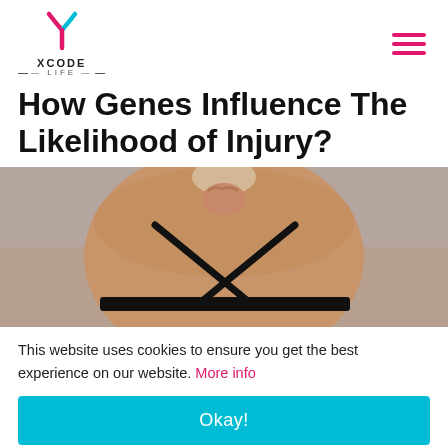XCODE LIFE
How Genes Influence The Likelihood of Injury?
[Figure (photo): Person from behind holding their neck/shoulder area, wearing a black sports bra with cross-back straps, suggesting sports injury or pain]
This website uses cookies to ensure you get the best experience on our website. More info
Okay!